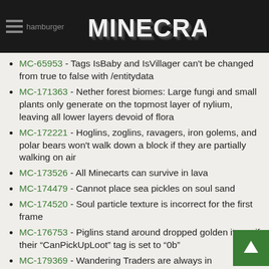hamburger | MINECRAFT
MC-65953 - Tags IsBaby and IsVillager can't be changed from true to false with /entitydata
MC-171363 - Nether forest biomes: Large fungi and small plants only generate on the topmost layer of nylium, leaving all lower layers devoid of flora
MC-172221 - Hoglins, zoglins, ravagers, iron golems, and polar bears won't walk down a block if they are partially walking on air
MC-173526 - All Minecarts can survive in lava
MC-174479 - Cannot place sea pickles on soul sand
MC-174520 - Soul particle texture is incorrect for the first frame
MC-176753 - Piglins stand around dropped golden items if their "CanPickUpLoot" tag is set to "0b"
MC-179369 - Wandering Traders are always in in the Nether and the End